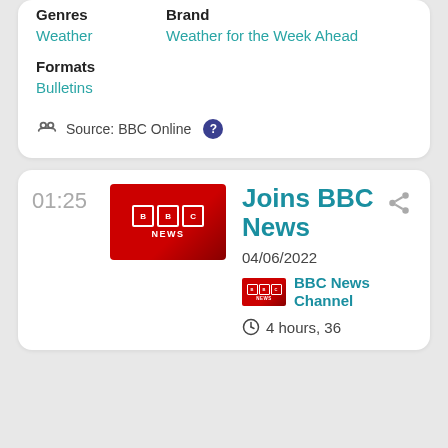| Genres | Brand |
| --- | --- |
| Weather | Weather for the Week Ahead |
Formats
Bulletins
Source: BBC Online
01:25
[Figure (logo): BBC News logo on red background]
Joins BBC News
04/06/2022
[Figure (logo): Small BBC News channel logo]
BBC News Channel
4 hours, 36